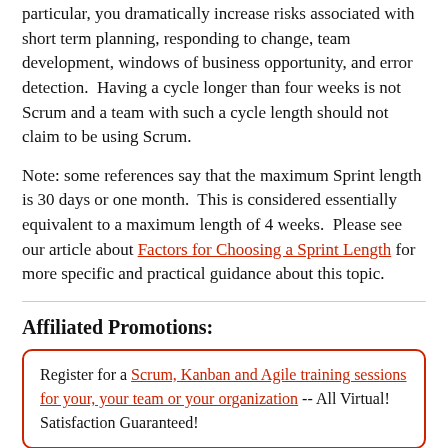particular, you dramatically increase risks associated with short term planning, responding to change, team development, windows of business opportunity, and error detection.  Having a cycle longer than four weeks is not Scrum and a team with such a cycle length should not claim to be using Scrum.
Note: some references say that the maximum Sprint length is 30 days or one month.  This is considered essentially equivalent to a maximum length of 4 weeks.  Please see our article about Factors for Choosing a Sprint Length for more specific and practical guidance about this topic.
Affiliated Promotions:
Register for a Scrum, Kanban and Agile training sessions for your, your team or your organization -- All Virtual! Satisfaction Guaranteed!